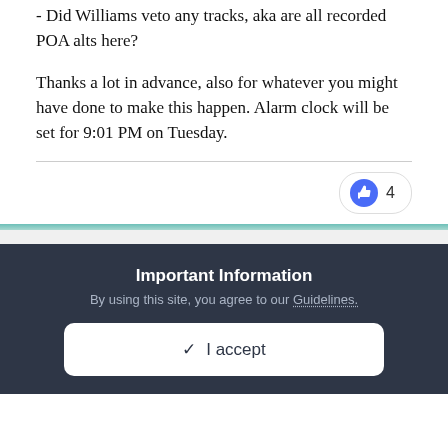- Did Williams veto any tracks, aka are all recorded POA alts here?
Thanks a lot in advance, also for whatever you might have done to make this happen. Alarm clock will be set for 9:01 PM on Tuesday.
4 (like count)
Important Information
By using this site, you agree to our Guidelines.
✓ I accept